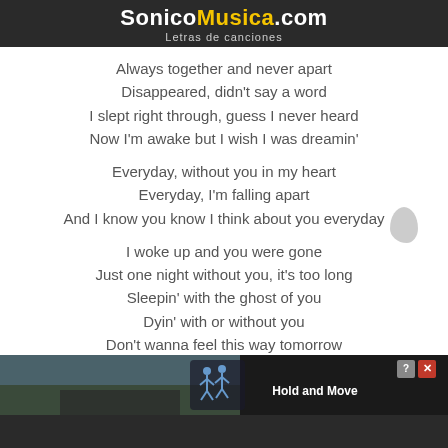SonicoMusica.com
Letras de canciones
Always together and never apart
Disappeared, didn't say a word
I slept right through, guess I never heard
Now I'm awake but I wish I was dreamin'
Everyday, without you in my heart
Everyday, I'm falling apart
And I know you know I think about you everyday
I woke up and you were gone
Just one night without you, it's too long
Sleepin' with the ghost of you
Dyin' with or without you
Don't wanna feel this way tomorrow
Everyday, without you in my heart
Everyday, I'm falling apart
And I know you know I think about you everyday
[Figure (screenshot): Advertisement banner at bottom showing Hold and Move app with outdoor winter scene background, question mark and close buttons in top right]